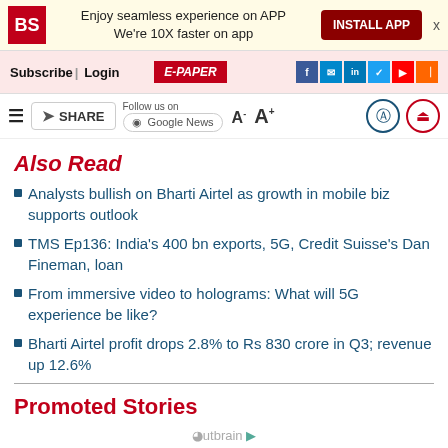BS | Enjoy seamless experience on APP We're 10X faster on app | INSTALL APP
Subscribe | Login | E-PAPER
≡ SHARE | Follow us on Google News | A- A+
Also Read
Analysts bullish on Bharti Airtel as growth in mobile biz supports outlook
TMS Ep136: India's 400 bn exports, 5G, Credit Suisse's Dan Fineman, loan
From immersive video to holograms: What will 5G experience be like?
Bharti Airtel profit drops 2.8% to Rs 830 crore in Q3; revenue up 12.6%
Promoted Stories
Outbrain
Most Read